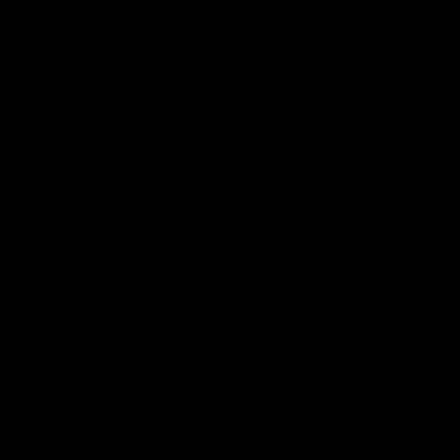[Figure (photo): Large black rectangle occupying the left portion of the page]
realizzati in importanza sicurezza n borsa pen. pregiata re impostato <ul><li>Ba resina nera del marchi colore rubi <br class= <div align= <p style='t href="http: Boheme-G href="http: stilografica src="http:/ Boheme-G alt">